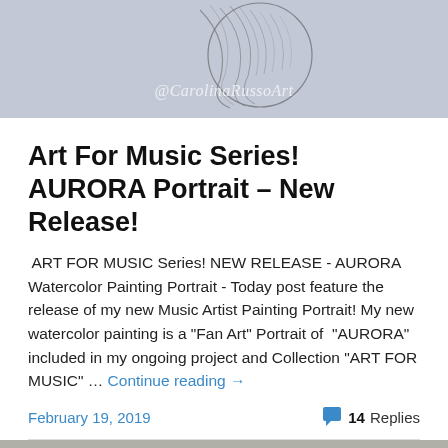[Figure (photo): Grayscale/blue-tinted watercolor artwork showing feathers and a circular element, with watermark '@CarolinaRussoArt' overlaid in white italic text]
Art For Music Series! AURORA Portrait – New Release!
ART FOR MUSIC Series! NEW RELEASE - AURORA Watercolor Painting Portrait - Today post feature the release of my new Music Artist Painting Portrait! My new watercolor painting is a "Fan Art" Portrait of  "AURORA" included in my ongoing project and Collection "ART FOR MUSIC" ... Continue reading →
February 19, 2019
💬 14 Replies
[Figure (photo): Partial grayscale photo visible at the bottom of the page, appears to show a black and white speckled or dotted pattern]